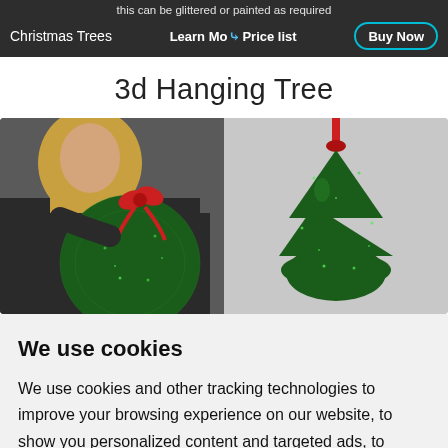this can be glittered or painted as required
Christmas Trees  Learn More  Price list  Buy Now
3d Hanging Tree
[Figure (photo): Two photos side by side: left shows a person with blonde hair holding a large green glittered ball/ornament with a red bow; right shows a completed green glittered 3D hanging Christmas tree shape suspended by a red ribbon, against a grey background.]
We use cookies
We use cookies and other tracking technologies to improve your browsing experience on our website, to show you personalized content and targeted ads, to analyze our website traffic, and